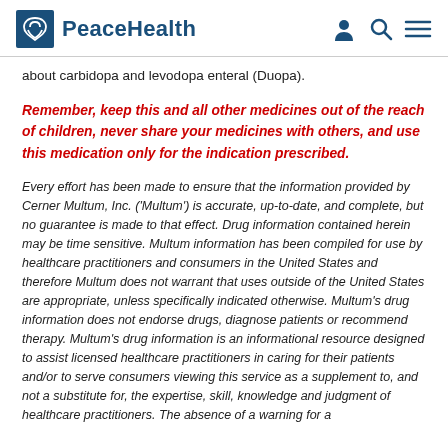PeaceHealth
about carbidopa and levodopa enteral (Duopa).
Remember, keep this and all other medicines out of the reach of children, never share your medicines with others, and use this medication only for the indication prescribed.
Every effort has been made to ensure that the information provided by Cerner Multum, Inc. ('Multum') is accurate, up-to-date, and complete, but no guarantee is made to that effect. Drug information contained herein may be time sensitive. Multum information has been compiled for use by healthcare practitioners and consumers in the United States and therefore Multum does not warrant that uses outside of the United States are appropriate, unless specifically indicated otherwise. Multum's drug information does not endorse drugs, diagnose patients or recommend therapy. Multum's drug information is an informational resource designed to assist licensed healthcare practitioners in caring for their patients and/or to serve consumers viewing this service as a supplement to, and not a substitute for, the expertise, skill, knowledge and judgment of healthcare practitioners. The absence of a warning for a